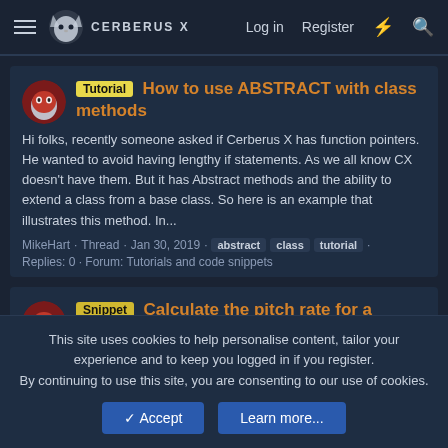CERBERUS X — Log in   Register
Tutorial — How to use ABSTRACT with class methods
Hi folks, recently someone asked if Cerberus X has function pointers. He wanted to avoid having lengthy if statements. As we all know CX doesn't have them. But it has Abstract methods and the ability to extend a class from a base class. So here is an example that illustrates this method. In...
MikeHart · Thread · Jan 30, 2019 · abstract  class  tutorial · Replies: 0 · Forum: Tutorials and code snippets
Snippet — Calculate the pitch rate for a sound
If you need to calculate the pitch rate of a sound, you can use this function: 'Calculates the pitchrate for the amount of given...
This site uses cookies to help personalise content, tailor your experience and to keep you logged in if you register.
By continuing to use this site, you are consenting to our use of cookies.